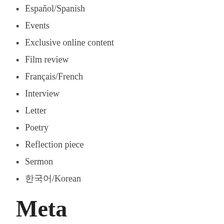Español/Spanish
Events
Exclusive online content
Film review
Français/French
Interview
Letter
Poetry
Reflection piece
Sermon
한국어/Korean
Meta
Log in
Entries feed